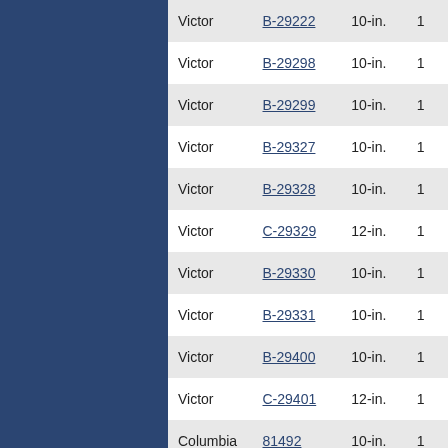| Manufacturer | Model | Size |  |
| --- | --- | --- | --- |
| Victor | B-29222 | 10-in. | 1 |
| Victor | B-29298 | 10-in. | 1 |
| Victor | B-29299 | 10-in. | 1 |
| Victor | B-29327 | 10-in. | 1 |
| Victor | B-29328 | 10-in. | 1 |
| Victor | C-29329 | 12-in. | 1 |
| Victor | B-29330 | 10-in. | 1 |
| Victor | B-29331 | 10-in. | 1 |
| Victor | B-29400 | 10-in. | 1 |
| Victor | C-29401 | 12-in. | 1 |
| Columbia | 81492 | 10-in. | 1 |